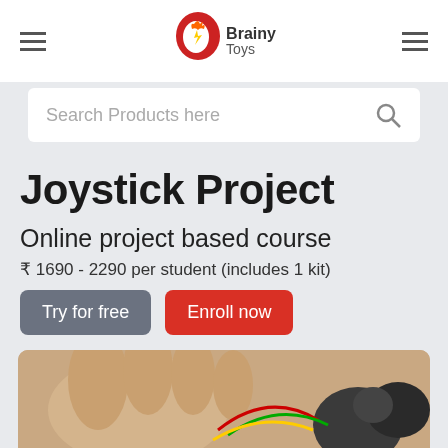Brainy Toys
Search Products here
Joystick Project
Online project based course
₹ 1690 - 2290 per student (includes 1 kit)
Try for free
Enroll now
[Figure (photo): A hand holding a joystick component with wires, electronics project kit]